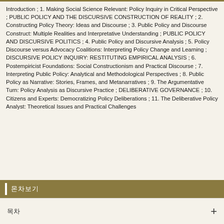Introduction ; 1. Making Social Science Relevant: Policy Inquiry in Critical Perspective ; PUBLIC POLICY AND THE DISCURSIVE CONSTRUCTION OF REALITY ; 2. Constructing Policy Theory: Ideas and Discourse ; 3. Public Policy and Discourse Construct: Multiple Realities and Interpretative Understanding ; PUBLIC POLICY AND DISCURSIVE POLITICS ; 4. Public Policy and Discursive Analysis ; 5. Policy Discourse versus Advocacy Coalitions: Interpreting Policy Change and Learning ; DISCURSIVE POLICY INQUIRY: RESTITUTING EMPIRICAL ANALYSIS ; 6. Postempiricist Foundations: Social Constructionism and Practical Discourse ; 7. Interpreting Public Policy: Analytical and Methodological Perspectives ; 8. Public Policy as Narrative: Stories, Frames, and Metanarratives ; 9. The Argumentative Turn: Policy Analysis as Discursive Practice ; DELIBERATIVE GOVERNANCE ; 10. Citizens and Experts: Democratizing Policy Deliberations ; 11. The Deliberative Policy Analyst: Theoretical Issues and Practical Challenges
목차보기